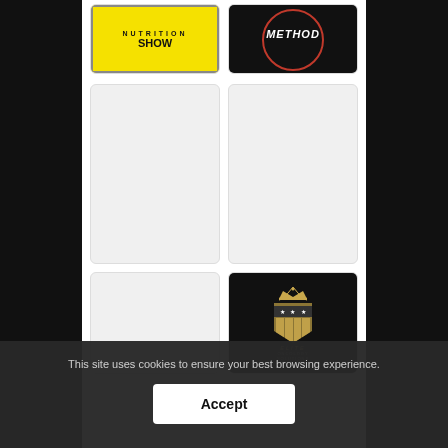[Figure (logo): Nutrition Show logo on yellow background with bold text]
[Figure (logo): Method podcast logo on black background with red circle]
[Figure (other): Empty/loading thumbnail placeholder (light gray)]
[Figure (other): Empty/loading thumbnail placeholder (light gray)]
[Figure (other): Empty/loading thumbnail placeholder (light gray)]
[Figure (logo): Elite Oncology Solutions logo with crown and shield on black background]
This site uses cookies to ensure your best browsing experience.
Accept